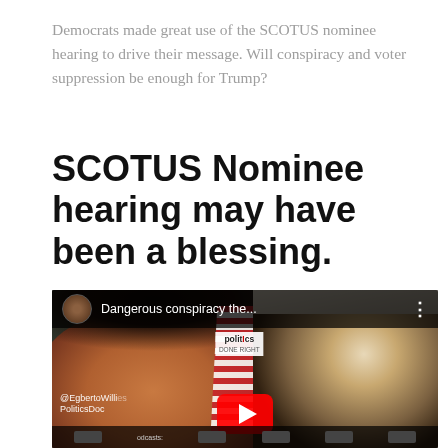Democrats made great use of the SCOTUS nominee hearing to drive their message. Will conspiracy and voter suppression be enough for Trump?
SCOTUS Nominee hearing may have been a blessing.
[Figure (screenshot): YouTube video thumbnail titled 'Dangerous conspiracy the...' showing a split screen: on the left, a woman (Kamala Harris) speaking against a background with US flags, and on the right, an older man at a Senate hearing. A politIcs logo watermark is visible in the center. An @EgbertoWillies / PoliticsDon watermark appears at bottom left. A YouTube play button is partially visible at the bottom center.]